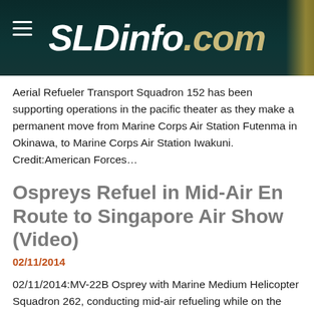SLDinfo.com
Aerial Refueler Transport Squadron 152 has been supporting operations in the pacific theater as they make a permanent move from Marine Corps Air Station Futenma in Okinawa, to Marine Corps Air Station Iwakuni. Credit:American Forces…
Ospreys Refuel in Mid-Air En Route to Singapore Air Show (Video)
02/11/2014
02/11/2014:MV-22B Osprey with Marine Medium Helicopter Squadron 262, conducting mid-air refueling while on the way to Singapore from Okinawa, Japan, for the Singapore Air Show, Feb. 6, 2014. Credit: III Marine Expeditionary Force:2/6/14 The Ospreys